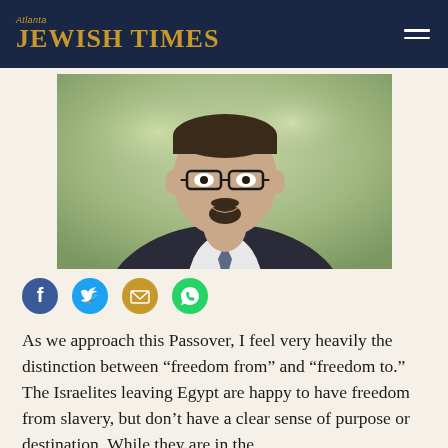Atlanta JEWISH TIMES
[Figure (photo): Portrait photo of a man with glasses, goatee, wearing a dark suit and tie, smiling, with blurred green outdoor background]
[Figure (infographic): Social share buttons: Facebook (blue), Twitter (light blue), Email (gold), WhatsApp (green)]
As we approach this Passover, I feel very heavily the distinction between “freedom from” and “freedom to.” The Israelites leaving Egypt are happy to have freedom from slavery, but don’t have a clear sense of purpose or destination. While they are in the